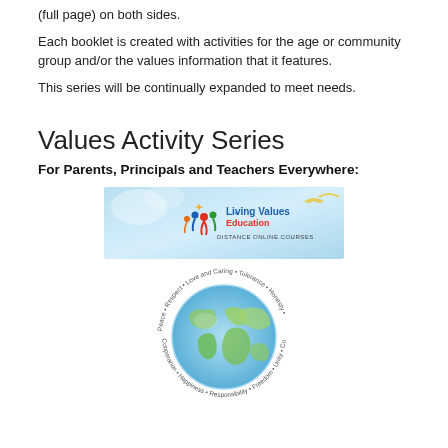(full page) on both sides.
Each booklet is created with activities for the age or community group and/or the values information that it features.
This series will be continually expanded to meet needs.
Values Activity Series
For Parents, Principals and Teachers Everywhere:
[Figure (logo): Living Values Education Distance Online Courses banner with colorful logo of people figures and a bird]
[Figure (illustration): Globe watercolor illustration with values words written around it in a circle: Peace, Respect, Love and Caring, Tolerance, Honesty, Responsibility, Happiness, Cooperation, Freedom, Unity, Cooperation]